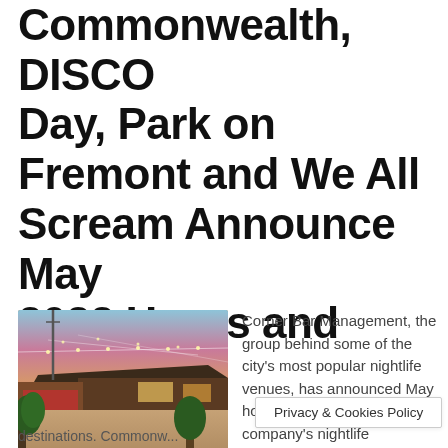Commonwealth, Discovery Day, Park on Fremont and We All Scream Announce May 2022 Hours and Events
May 1, 2022 By VegasPublicity
[Figure (photo): Outdoor patio of a nightlife venue at dusk with string lights, brick walls, benches and trees]
Corner Bar Management, the group behind some of the city's most popular nightlife venues, has announced May hours and events for the company's nightlife
destinations. Commonw...
Privacy & Cookies Policy